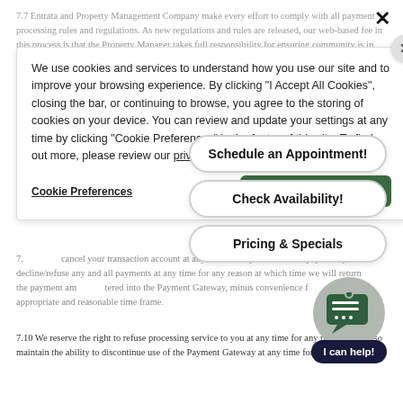7.7 Entrata and Property Management Company make every effort to comply with all payment processing rules and regulations. As new regulations and rules are released, our web-based fee in this process is that the Property Manager takes full responsibility for ensuring community is in compliance with state and local regulations. To find out more, please review our privacy policy you agree to contact payee before submission to be sure to recognize the transaction on your monthly statement.
We use cookies and services to understand how you use our site and to improve your browsing experience. By clicking "I Accept All Cookies", closing the bar, or continuing to browse, you agree to the storing of cookies on your device. You can review and update your settings at any time by clicking "Cookie Preferences" in the footer of this site. To find out more, please review our privacy policy
Cookie Preferences
I Accept All Cookies
Schedule an Appointment!
Check Availability!
Pricing & Specials
7.9 ... cancel your transaction account at any time for any reason. Your payee may decline/refuse any and all payments at any time for any reason at which time we will return the payment amount entered into the Payment Gateway, minus convenience fees, in an appropriate and reasonable time frame.
7.10 We reserve the right to refuse processing service to you at any time for any reason. You also maintain the ability to discontinue use of the Payment Gateway at any time for any